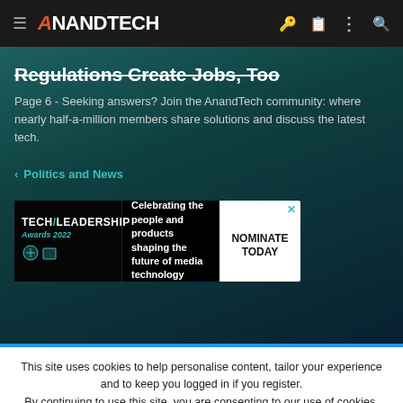AnandTech
Regulations Create Jobs, Too
Page 6 - Seeking answers? Join the AnandTech community: where nearly half-a-million members share solutions and discuss the latest tech.
< Politics and News
[Figure (other): Tech Leadership Awards 2022 advertisement banner. Text reads: Celebrating the people and products shaping the future of media technology. NOMINATE TODAY.]
This site uses cookies to help personalise content, tailor your experience and to keep you logged in if you register. By continuing to use this site, you are consenting to our use of cookies.